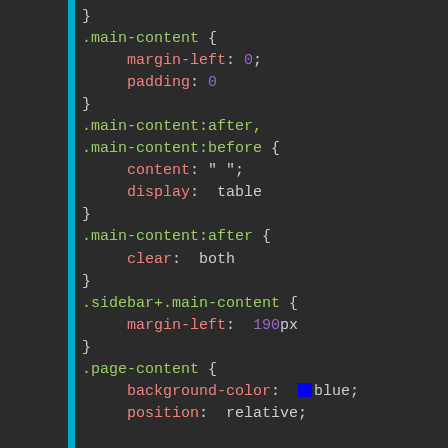[Figure (screenshot): Code editor screenshot showing CSS code with syntax highlighting. Dark background (#2b2b2b) with a cyan/blue vertical bar on the left. CSS selectors in green, property names in pink/red, values in light gray, numeric values in purple.]